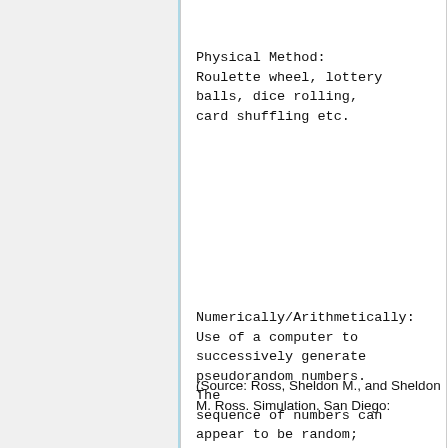Physical Method: Roulette wheel, lottery balls, dice rolling, card shuffling etc.
Numerically/Arithmetically: Use of a computer to successively generate pseudorandom numbers. The sequence of numbers can appear to be random; however they are deterministically calculated with an equation which defines pseudorandom.
(Source: Ross, Sheldon M., and Sheldon M. Ross. Simulation. San Diego: